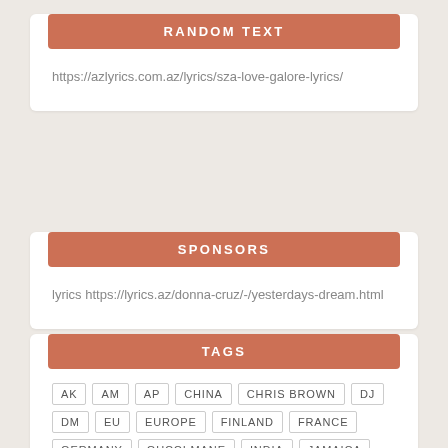RANDOM TEXT
https://azlyrics.com.az/lyrics/sza-love-galore-lyrics/
SPONSORS
lyrics https://lyrics.az/donna-cruz/-/yesterdays-dream.html
TAGS
AK
AM
AP
CHINA
CHRIS BROWN
DJ
DM
EU
EUROPE
FINLAND
FRANCE
GERMANY
GUCCI MANE
INDIA
JAMAICA
JORDAN
LA